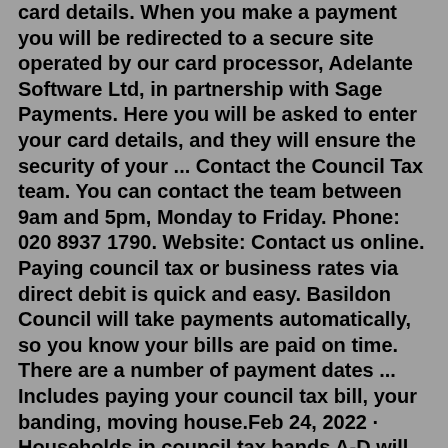card details. When you make a payment you will be redirected to a secure site operated by our card processor, Adelante Software Ltd, in partnership with Sage Payments. Here you will be asked to enter your card details, and they will ensure the security of your ... Contact the Council Tax team. You can contact the team between 9am and 5pm, Monday to Friday. Phone: 020 8937 1790. Website: Contact us online. Paying council tax or business rates via direct debit is quick and easy. Basildon Council will take payments automatically, so you know your bills are paid on time. There are a number of payment dates ... Includes paying your council tax bill, your banding, moving house.Feb 24, 2022 · Households in council tax bands A-D will receive the £150 council tax rebate. This means 4 out of 5 households in England will benefit, including around 95% of rented properties. However, second ... Exchanging tenants must be a Council or Housing Association registered partner in Basildon). Tenants must not owe any housing related